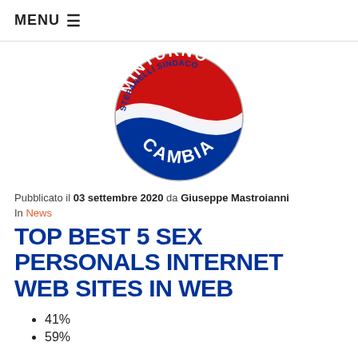MENU ≡
[Figure (logo): Circular Italian political party logo. Top half red with white text 'MINTURNO' arched, middle white band with blue text 'STEFANELLI SINDACO', bottom half blue with white text 'CAMBIA'.]
Pubblicato il 03 settembre 2020 da Giuseppe Mastroianni
In News
TOP BEST 5 SEX PERSONALS INTERNET WEB SITES IN WEB
41%
59%